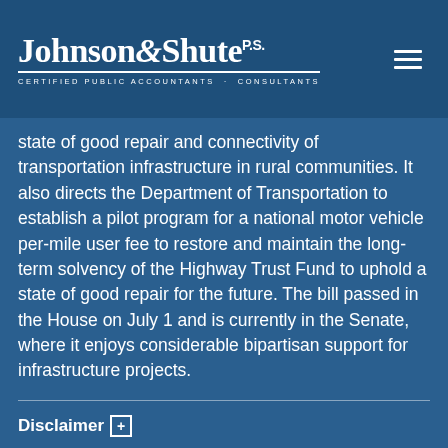Johnson & Shute P.S. — Certified Public Accountants · Consultants
state of good repair and connectivity of transportation infrastructure in rural communities. It also directs the Department of Transportation to establish a pilot program for a national motor vehicle per-mile user fee to restore and maintain the long-term solvency of the Highway Trust Fund to uphold a state of good repair for the future. The bill passed in the House on July 1 and is currently in the Senate, where it enjoys considerable bipartisan support for infrastructure projects.
Disclaimer +
August 1, 2020
Service2Client